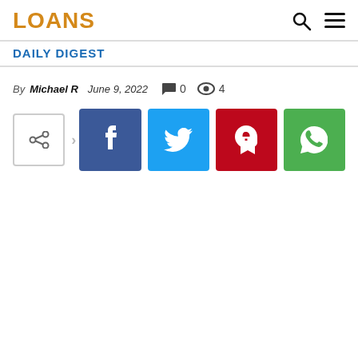LOANS
DAILY DIGEST
By Michael R   June 9, 2022   0   4
[Figure (other): Social share buttons: share icon with arrow, Facebook, Twitter, Pinterest, WhatsApp]